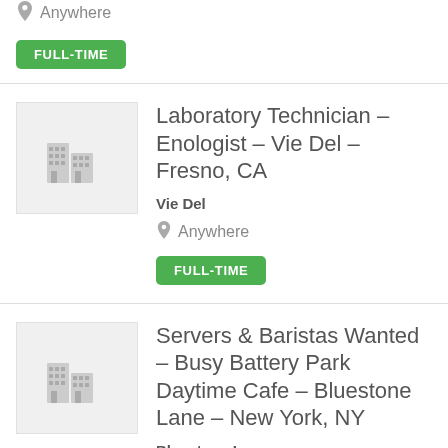Anywhere
FULL-TIME
Laboratory Technician – Enologist – Vie Del – Fresno, CA
Vie Del
Anywhere
FULL-TIME
Servers & Baristas Wanted – Busy Battery Park Daytime Cafe – Bluestone Lane – New York, NY
Bluestone Lane
Anywhere